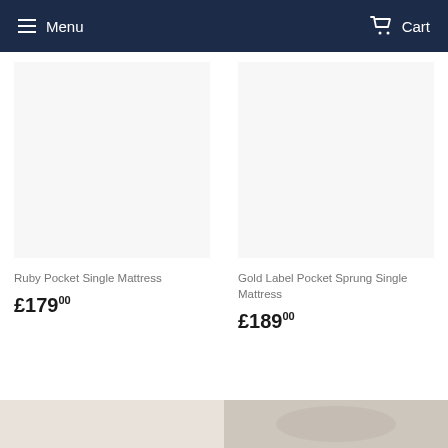Menu   Cart
Ruby Pocket Single Mattress
£179.00
Gold Label Pocket Sprung Single Mattress
£189.00